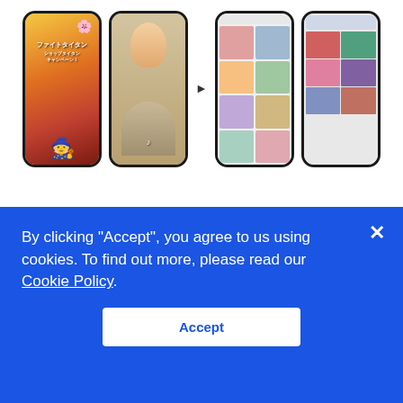[Figure (screenshot): Four smartphone screenshots showing TikTok ad formats: 1) 3-second full-day Brand Takeover with game art, 2) In-feed video in 'For You' section showing a girl, 3) Banner in 'Discover' section with grid of videos, 4) Shop Titans Hashtag Challenge with grid of user videos. Arrow between phone 2 and 3.]
3-second full-day Brand Takeover
In-feed video in "For You" section
Banner in "Discover" section
Shop Titans Hashtag Challenge
In order to achieve its objectives, Shop Titans
By clicking "Accept", you agree to us using cookies. To find out more, please read our Cookie Policy.
Accept